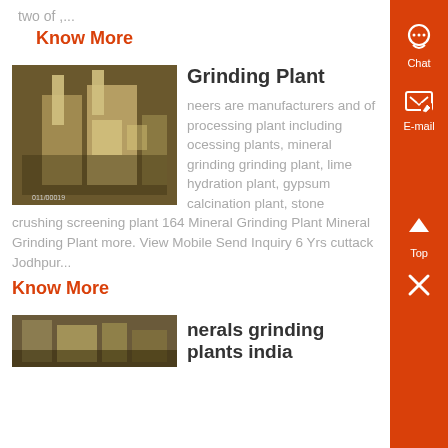two of ,...
Know More
Grinding Plant
[Figure (photo): Industrial grinding plant machinery inside a factory building]
neers are manufacturers and of processing plant including ocessing plants, mineral grinding grinding plant, lime hydration plant, gypsum calcination plant, stone crushing screening plant 164 Mineral Grinding Plant Mineral Grinding Plant more. View Mobile Send Inquiry 6 Yrs cuttack Jodhpur...
Know More
nerals grinding plants india
[Figure (photo): Industrial minerals grinding plant]